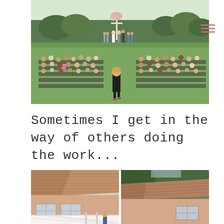[Figure (photo): Outdoor wedding ceremony viewed from behind. Guests seated in rows of folding chairs on both sides of a white aisle runner. A woman in black walks up the aisle. At the front, a couple stands under a floral arch with officiant and wedding party. Green grass field and trees in background.]
Sometimes I get in the way of others doing the work...
[Figure (photo): Two side-by-side photos of house rooftops. Left photo shows a tan/pink house with brown shingle roof, white lattice fence, and a person visible near the fence. Right photo shows a similar brown shingle roof with trees behind.]